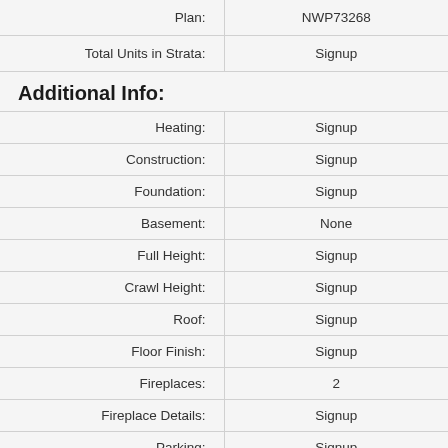| Plan: | NWP73268 |
| --- | --- |
| Total Units in Strata: | Signup |
Additional Info:
| Heating: | Signup |
| Construction: | Signup |
| Foundation: | Signup |
| Basement: | None |
| Full Height: | Signup |
| Crawl Height: | Signup |
| Roof: | Signup |
| Floor Finish: | Signup |
| Fireplaces: | 2 |
| Fireplace Details: | Signup |
| Parking: | Signup |